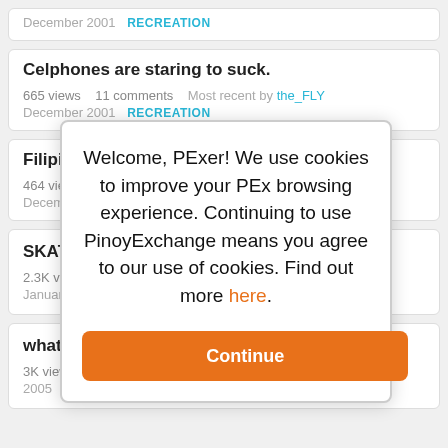December 2001   RECREATION
Celphones are staring to suck.
665 views   11 comments   Most recent by the_FLY
December 2001   RECREATION
Filipino Folkdance -Anyone?
464 views   2 comments   Most recent by loren_dimple
December 2001
SKATEBOARD [truncated]   TO OPEN!
2.3K views   GaWeTte
January 2002
what do you [truncated]
3K views   4 [truncated]   ycHiQa   May 2005   RECREATION
Welcome, PExer! We use cookies to improve your PEx browsing experience. Continuing to use PinoyExchange means you agree to our use of cookies. Find out more here. Continue